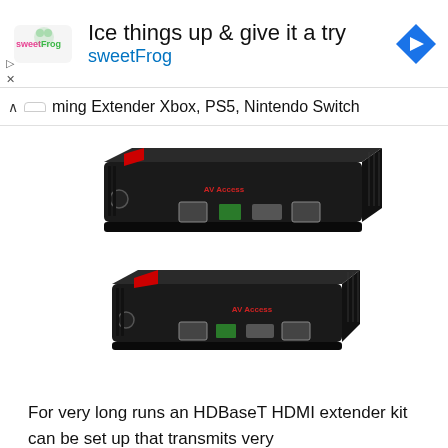[Figure (screenshot): sweetFrog advertisement banner with logo, headline 'Ice things up & give it a try', brand name 'sweetFrog', navigation arrow icon, and play/close controls]
ming Extender Xbox, PS5, Nintendo Switch
[Figure (photo): Two black HDBaseT HDMI extender units (transmitter and receiver) shown from a 3/4 angle, with ports including RJ45, HDMI, and power connector, branded 'AV Access']
For very long runs an HDBaseT HDMI extender kit can be set up that transmits very